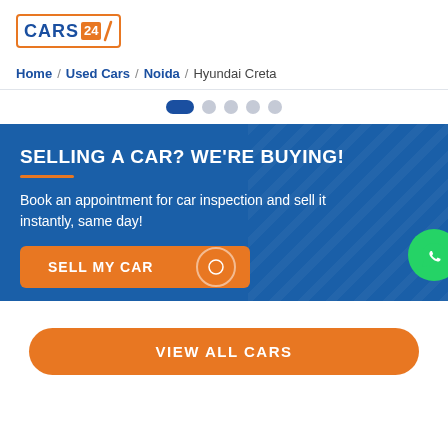[Figure (logo): CARS24 logo with orange border and slash graphic]
Home / Used Cars / Noida / Hyundai Creta
[Figure (other): Pagination dots: first dot active (dark blue elongated), followed by 4 grey circular dots]
SELLING A CAR? WE'RE BUYING!
Book an appointment for car inspection and sell it instantly, same day!
SELL MY CAR
VIEW ALL CARS